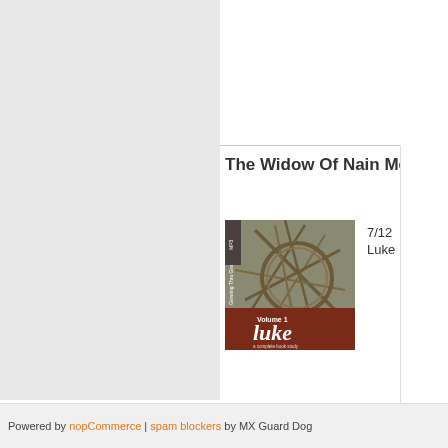The Widow Of Nain Me
7/12
Luke
[Figure (photo): Book cover: Growing Thru Grace, Volume 1 Luke, a complete book study by Pastor Jack Abeelen, with a dark reddish-brown stripe and an image of a crown of thorns.]
Powered by nopCommerce | spam blockers by MX Guard Dog